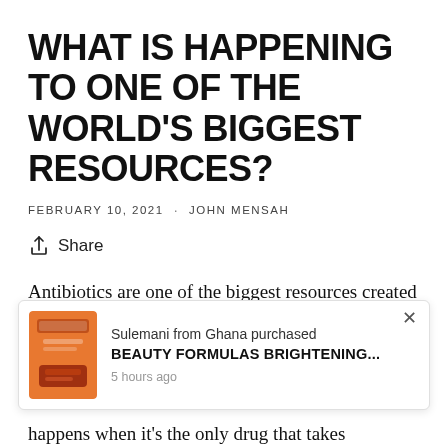WHAT IS HAPPENING TO ONE OF THE WORLD'S BIGGEST RESOURCES?
FEBRUARY 10, 2021 · JOHN MENSAH
Share
Antibiotics are one of the biggest resources created by man. A major invention that has formed one of the basic needs of every human. But what happens when this
[Figure (other): Pop-up notification showing a product purchase: 'Sulemani from Ghana purchased BEAUTY FORMULAS BRIGHTENING... 5 hours ago' with a product image of an orange tube.]
happens when it's the only drug that takes